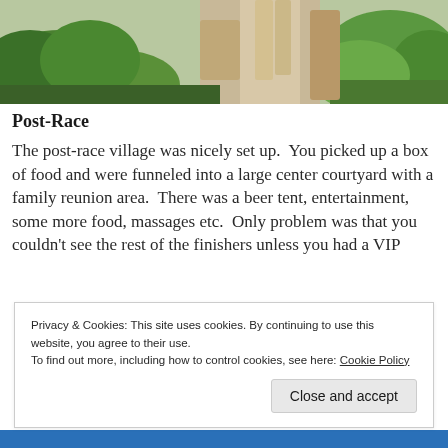[Figure (photo): Outdoor landscape photo showing rocky cliffs, a bridge or arch structure, and lush green vegetation/trees on a hillside]
Post-Race
The post-race village was nicely set up.  You picked up a box of food and were funneled into a large center courtyard with a family reunion area.  There was a beer tent, entertainment, some more food, massages etc.  Only problem was that you couldn't see the rest of the finishers unless you had a VIP
Privacy & Cookies: This site uses cookies. By continuing to use this website, you agree to their use.
To find out more, including how to control cookies, see here: Cookie Policy
Close and accept